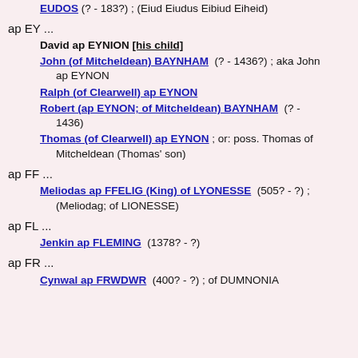EUDOS (?- 183?) ; (Eiud Eiudus Eibiud Eiheid)
ap EY ...
David ap EYNION [his child]
John (of Mitcheldean) BAYNHAM  (?- 1436?) ;  aka John ap EYNON
Ralph (of Clearwell) ap EYNON
Robert (ap EYNON; of Mitcheldean) BAYNHAM  (?- 1436)
Thomas (of Clearwell) ap EYNON ;  or: poss. Thomas of Mitcheldean (Thomas' son)
ap FF ...
Meliodas ap FFELIG (King) of LYONESSE  (505? - ?) ; (Meliodag; of LIONESSE)
ap FL ...
Jenkin ap FLEMING  (1378? - ?)
ap FR ...
Cynwal ap FRWDWR  (400? - ?) ;  of DUMNONIA